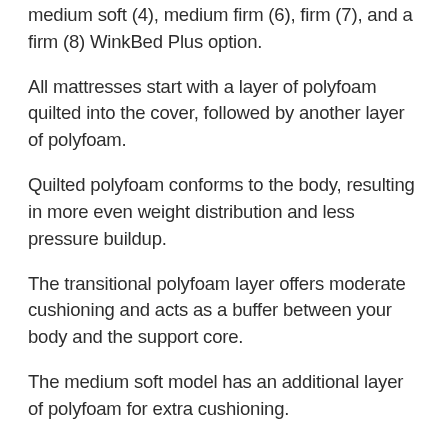medium soft (4), medium firm (6), firm (7), and a firm (8) WinkBed Plus option.
All mattresses start with a layer of polyfoam quilted into the cover, followed by another layer of polyfoam.
Quilted polyfoam conforms to the body, resulting in more even weight distribution and less pressure buildup.
The transitional polyfoam layer offers moderate cushioning and acts as a buffer between your body and the support core.
The medium soft model has an additional layer of polyfoam for extra cushioning.